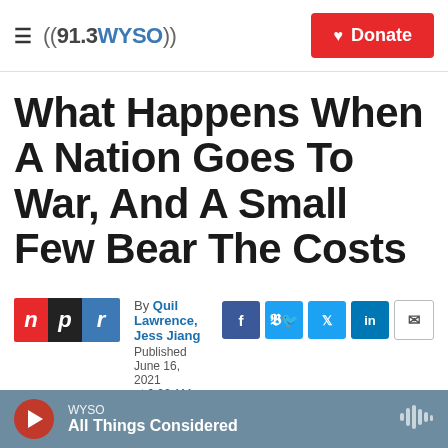((91.3 WYSO)) | Donate
What Happens When A Nation Goes To War, And A Small Few Bear The Costs
By Quil Lawrence, Jess Jiang
Published June 16, 2021 at 6:02 AM EDT
[Figure (screenshot): Partial image strip at bottom of article above audio bar]
WYSO — All Things Considered